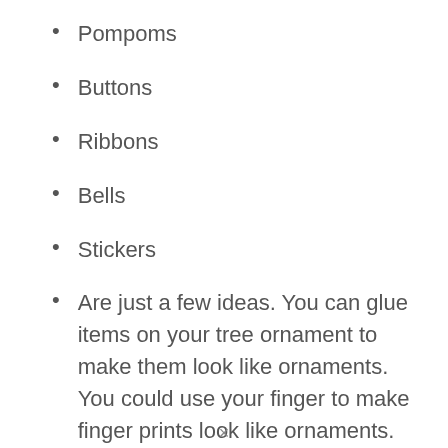Pompoms
Buttons
Ribbons
Bells
Stickers
Are just a few ideas. You can glue items on your tree ornament to make them look like ornaments. You could use your finger to make finger prints look like ornaments. While older kids might have fun using a